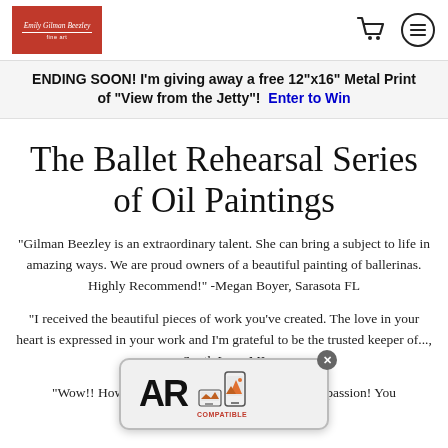Emily Gilman Beezley [logo] | cart icon | menu icon
ENDING SOON! I'm giving away a free 12"x16" Metal Print of "View from the Jetty"! Enter to Win
The Ballet Rehearsal Series of Oil Paintings
"Gilman Beezley is an extraordinary talent. She can bring a subject to life in amazing ways. We are proud owners of a beautiful painting of ballerinas. Highly Recommend!" -Megan Boyer, Sarasota FL
"I received the beautiful pieces of work you've created. The love in your heart is expressed in your work and I'm grateful to be the trusted keeper of..., South Lyon MI
"Wow!! How wonderful to be recognized for your passion! You
[Figure (screenshot): AR COMPATIBLE badge overlay with bold 'AR' text and a phone/mountain icon, with a close (X) button]